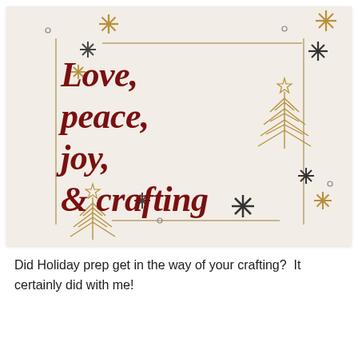[Figure (illustration): Holiday greeting card with cream/beige background, decorative gold and dark snowflake/star ornaments, gold minimalist Christmas tree illustrations, gold and dark border lines, and bold dark red cursive text reading 'Love, peace, joy, & crafting']
Did Holiday prep get in the way of your crafting?  It certainly did with me!